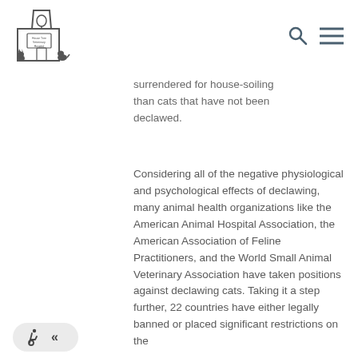House Tree Veterinary Hospital — navigation header with logo, search icon, menu icon
surrendered for house-soiling than cats that have not been declawed.
Considering all of the negative physiological and psychological effects of declawing, many animal health organizations like the American Animal Hospital Association, the American Association of Feline Practitioners, and the World Small Animal Veterinary Association have taken positions against declawing cats. Taking it a step further, 22 countries have either legally banned or placed significant restrictions on the